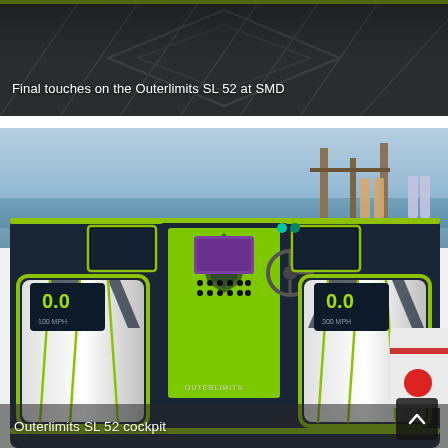[Figure (photo): Close-up of dark textured boat deck/hull surface with diagonal panels and green accent trim line, showing final touches on the Outerlimits SL 52 at SMD]
Final touches on the Outerlimits SL 52 at SMD
[Figure (photo): Cockpit interior of the Outerlimits SL 52 high-performance boat showing two white-and-black bucket seats with lime green trim, center console with digital gauges and controls, speedometer displays showing 0.0, marina dock visible in background]
Outerlimits SL 52 cockpit